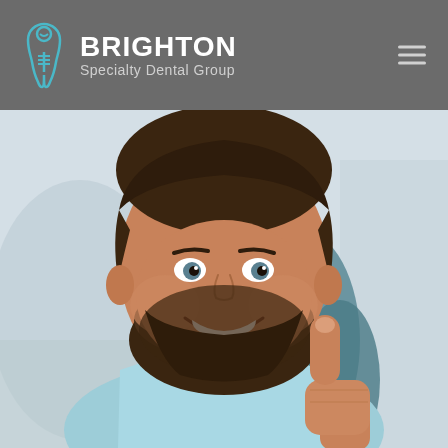BRIGHTON Specialty Dental Group
[Figure (photo): A smiling young man with a beard sitting in a dental chair wearing a light blue dental bib, giving a thumbs up. The background shows a blurred dental office setting.]